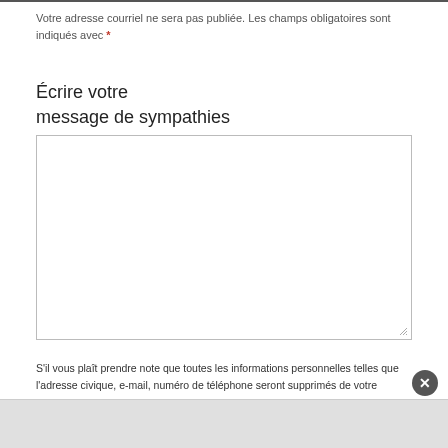Votre adresse courriel ne sera pas publiée. Les champs obligatoires sont indiqués avec *
Écrire votre message de sympathies
[Figure (other): Empty text area input box with resize handle at bottom right corner]
S'il vous plaît prendre note que toutes les informations personnelles telles que l'adresse civique, e-mail, numéro de téléphone seront supprimés de votre message de sympathie, afin de protéger votre vie privée. De plus, tout message contenant des commentaires non-respectueux ou utilisant un langage inapproprié ou toute forme de publicité sera également supprimé.